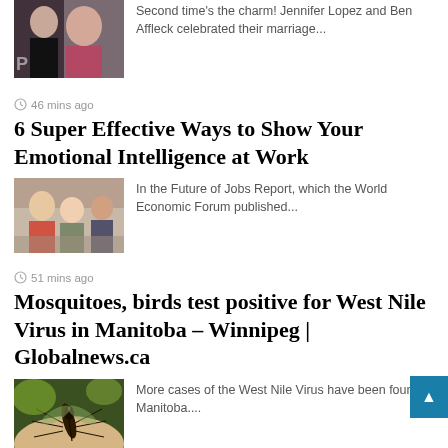[Figure (photo): Couple photo (Jennifer Lopez and Ben Affleck) at an event]
Second time's the charm! Jennifer Lopez and Ben Affleck celebrated their marriage...
46 mins ago
6 Super Effective Ways to Show Your Emotional Intelligence at Work
[Figure (photo): Office workers, people interacting in a workplace setting]
In the Future of Jobs Report, which the World Economic Forum published...
51 mins ago
Mosquitoes, birds test positive for West Nile Virus in Manitoba – Winnipeg | Globalnews.ca
[Figure (photo): Close-up photo of a mosquito on skin]
More cases of the West Nile Virus have been found in Manitoba....
54 mins ago
FTX's money isn't insured, FDIC says